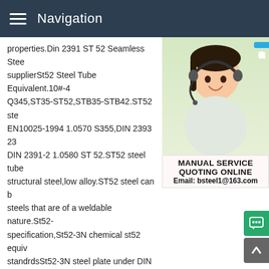Navigation
properties.Din 2391 ST 52 Seamless Stee supplierSt52 Steel Tube Equivalent.10#-45 Q345,ST35-ST52,STB35-STB42.ST52 ste EN10025-1994 1.0570 S355,DIN 2393 23 DIN 2391-2 1.0580 ST 52.ST52 steel tube structural steel,low alloy.ST52 steel can be steels that are of a weldable nature.St52-3 specification,St52-3N chemical st52 equiv standrdsSt52-3N steel plate under DIN 17 and low alloy steel. St52-3N steel plate ca other weldable steel. With its low carbon equivalent, it
[Figure (photo): Customer service consultant wearing a headset, smiling. Sidebar image with Chinese text badge reading 在线咨询 (online consultation), MANUAL SERVICE, QUOTING ONLINE, Email: bsteel1@163.com]
1.0570 steel composition - Steel Material Supplier
st52-3 steel tube properties 1.0570 Material,St52-3 Steel Equivalent,st52-3,st52.3,st52.3n,st 52-3 n,st52-3n,st52-3